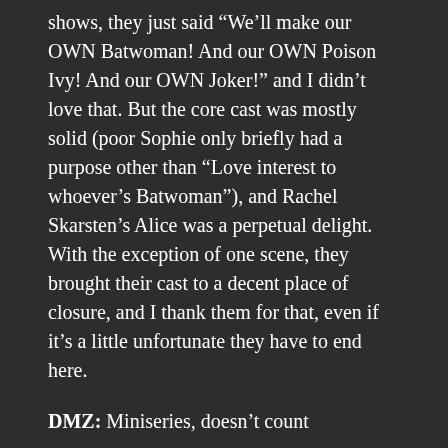shows, they just said “We’ll make our OWN Batwoman! And our OWN Poison Ivy! And our OWN Joker!” and I didn’t love that. But the core cast was mostly solid (poor Sophie only briefly had a purpose other than “Love interest to whoever’s Batwoman”), and Rachel Skarsten’s Alice was a perpetual delight. With the exception of one scene, they brought their cast to a decent place of closure, and I thank them for that, even if it’s a little unfortunate they have to end here.
DMZ: Miniseries, doesn’t count
Legends of Tomorrow: Oh it hurts me to put this show in this section. Sure, they did even